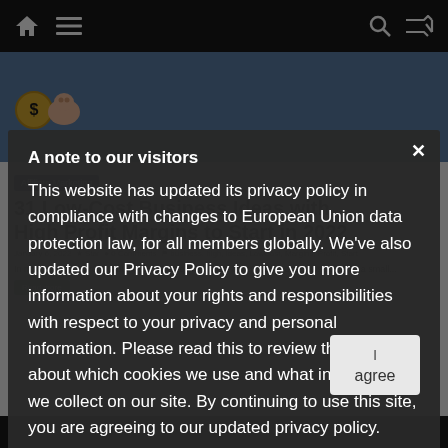Navigation bar with home, menu, search, and shuffle icons
[Figure (screenshot): Website background showing a blue banner with piggy bank icon, an article tagged 'Affiliate Marketing' titled '31 Low-Cost Business Ideas with High Profit Margins to Start in 2022', with metadata and excerpt text]
A note to our visitors
This website has updated its privacy policy in compliance with changes to European Union data protection law, for all members globally. We've also updated our Privacy Policy to give you more information about your rights and responsibilities with respect to your privacy and personal information. Please read this to review the updates about which cookies we use and what information we collect on our site. By continuing to use this site, you are agreeing to our updated privacy policy.